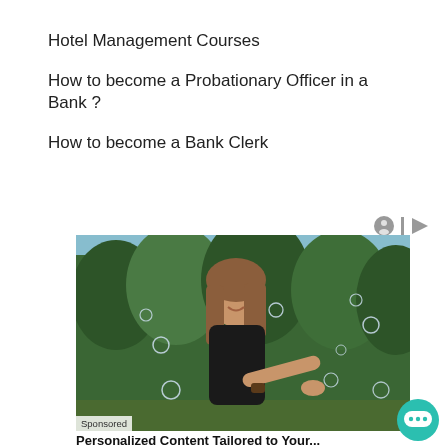Hotel Management Courses
How to become a Probationary Officer in a Bank ?
How to become a Bank Clerk
[Figure (photo): Advertisement photo of a smiling young woman in a black top holding out her hand with soap bubbles floating around her, set against a background of green trees. A 'Sponsored' label appears in the lower left corner.]
Personalized Content Tailored to Your...